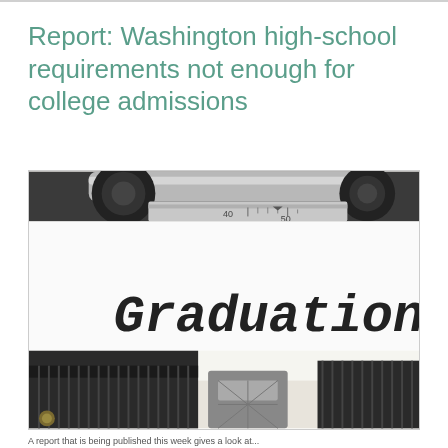Report: Washington high-school requirements not enough for college admissions
[Figure (photo): Close-up photograph of a vintage typewriter with a white sheet of paper showing the typed word 'Graduation' in bold typewriter font. The typewriter's roller, metal keys, and ruler scale showing numbers 40 and 50 are visible.]
A report that is being published this week gives a look at...